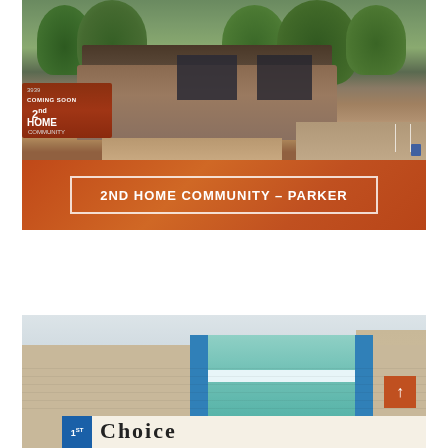[Figure (photo): Exterior photo of a brick commercial building with trees, a 'Coming Soon 2nd Home Community' sign in front, and a parking lot with a handicap space. An orange banner overlay reads '2ND HOME COMMUNITY – PARKER'.]
[Figure (photo): Exterior photo of a retail strip building showing a '1st Choice' store with teal/blue facade elements and brick exterior, partially cropped.]